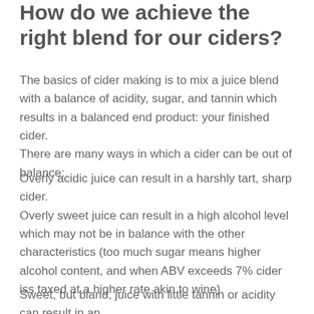How do we achieve the right blend for our ciders?
The basics of cider making is to mix a juice blend with a balance of acidity, sugar, and tannin which results in a balanced end product: your finished cider.
There are many ways in which a cider can be out of balance:
Overly acidic juice can result in a harshly tart, sharp cider. Overly sweet juice can result in a high alcohol level which may not be in balance with the other characteristics (too much sugar means higher alcohol content, and when ABV exceeds 7% cider iss taxed at a higher rate akin to wine).
Sweet, but bland, juice with little tannin or acidity can result in an